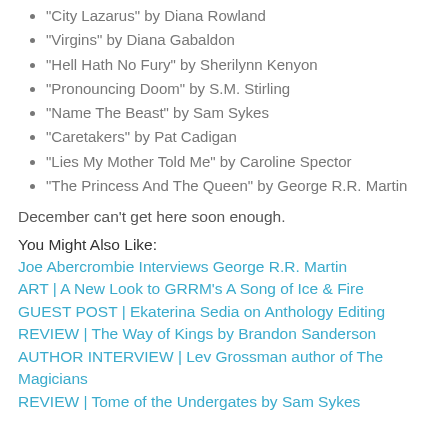“City Lazarus” by Diana Rowland
“Virgins” by Diana Gabaldon
“Hell Hath No Fury” by Sherilynn Kenyon
“Pronouncing Doom” by S.M. Stirling
“Name The Beast” by Sam Sykes
“Caretakers” by Pat Cadigan
“Lies My Mother Told Me” by Caroline Spector
“The Princess And The Queen” by George R.R. Martin
December can't get here soon enough.
You Might Also Like:
Joe Abercrombie Interviews George R.R. Martin
ART | A New Look to GRRM's A Song of Ice & Fire
GUEST POST | Ekaterina Sedia on Anthology Editing
REVIEW | The Way of Kings by Brandon Sanderson
AUTHOR INTERVIEW | Lev Grossman author of The Magicians
REVIEW | Tome of the Undergates by Sam Sykes